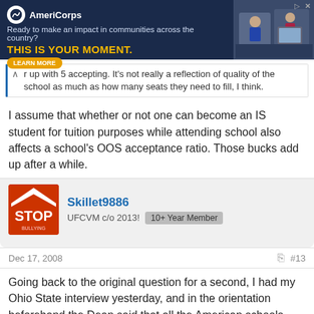[Figure (other): AmeriCorps advertisement banner with dark navy background, logo, tagline 'Ready to make an impact in communities across the country?', bold yellow text 'THIS IS YOUR MOMENT.', Learn More button, and photo of people]
r up with 5 accepting. It's not really a reflection of quality of the school as much as how many seats they need to fill, I think.
I assume that whether or not one can become an IS student for tuition purposes while attending school also affects a school's OOS acceptance ratio. Those bucks add up after a while.
Skillet9886
UFCVM c/o 2013!  10+ Year Member
Dec 17, 2008  #13
Going back to the original question for a second, I had my Ohio State interview yesterday, and in the orientation beforehand the Dean said that all the American schools have an agreement that they can't make you decide before April 15. She also said that sometimes (rarely, but it happens) schools have tried to tell